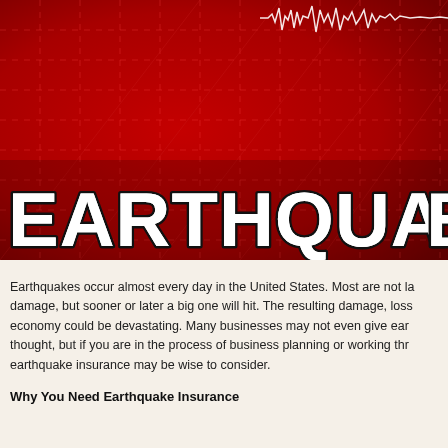[Figure (illustration): Red seismic/earthquake themed graphic background with grid lines, waveform seismograph line in upper right, and large white bold text 'EARTHQUAKE' overlaid on the red background]
Earthquakes occur almost every day in the United States. Most are not large enough to cause damage, but sooner or later a big one will hit. The resulting damage, loss of life, and toll on the economy could be devastating. Many businesses may not even give earthquake insurance a second thought, but if you are in the process of business planning or working through a risk assessment, earthquake insurance may be wise to consider.
Why You Need Earthquake Insurance